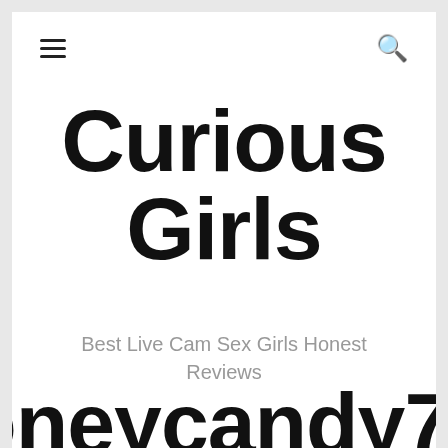≡  🔍
Curious Girls
Best Live Cam Sex Girls Honest Reviews
Honeycandy777